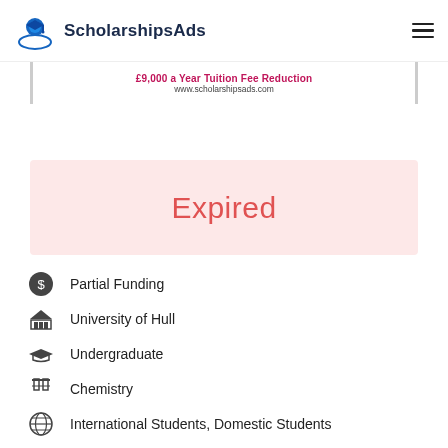ScholarshipsAds
£9,000 a Year Tuition Fee Reduction
www.scholarshipsads.com
Expired
Partial Funding
University of Hull
Undergraduate
Chemistry
International Students, Domestic Students
UK